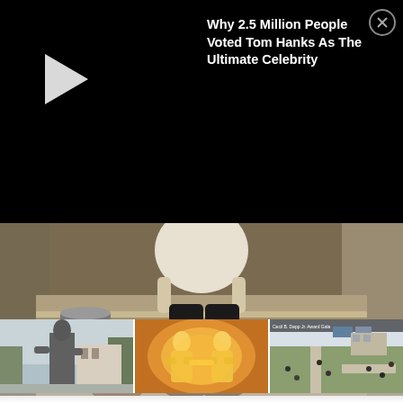[Figure (screenshot): Video overlay ad on black background with play button triangle on left, title text on right, and close X button in top-right corner. Title reads: Why 2.5 Million People Voted Tom Hanks As The Ultimate Celebrity]
[Figure (screenshot): Movie still showing a person sitting on stone steps wearing white top and dark trousers with boots, with a metal bucket and clay bowls visible on the steps]
[Figure (screenshot): Thumbnail strip with three images: left shows a bronze/stone statue of a figure outdoors; center shows two golden glowing child-like figures; right shows an aerial outdoor scene with people walking on paths]